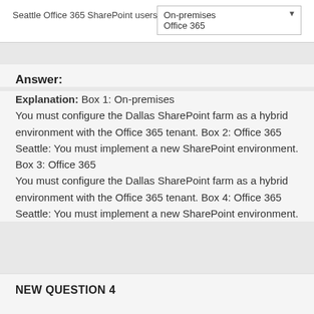[Figure (screenshot): A dropdown selection box labeled 'Seattle Office 365 SharePoint users' showing options 'On-premises' and 'Office 365']
Answer:
Explanation: Box 1: On-premises
You must configure the Dallas SharePoint farm as a hybrid environment with the Office 365 tenant. Box 2: Office 365
Seattle: You must implement a new SharePoint environment. Box 3: Office 365
You must configure the Dallas SharePoint farm as a hybrid environment with the Office 365 tenant. Box 4: Office 365
Seattle: You must implement a new SharePoint environment.
NEW QUESTION 4